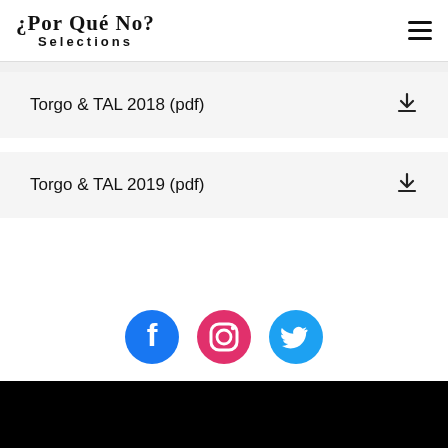¿Por Qué No? SELECTIONS
Torgo & TAL 2018 (pdf)
Torgo & TAL 2019 (pdf)
[Figure (infographic): Social media icons: Facebook (blue circle with f), Instagram (pink circle with camera), Twitter (light blue circle with bird)]